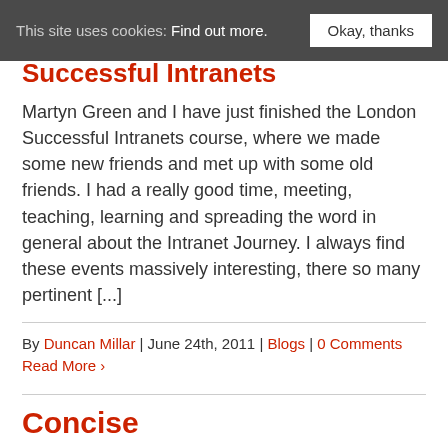This site uses cookies: Find out more.  Okay, thanks
Successful Intranets
Martyn Green and I have just finished the London Successful Intranets course, where we made some new friends and met up with some old friends. I had a really good time, meeting, teaching, learning and spreading the word in general about the Intranet Journey. I always find these events massively interesting, there so many pertinent [...]
By Duncan Millar | June 24th, 2011 | Blogs | 0 Comments
Read More >
Concise
The difference between clarity and clutter is concision, your objective is to achieve information balance.
Don't just be concise in your content, be concise in your